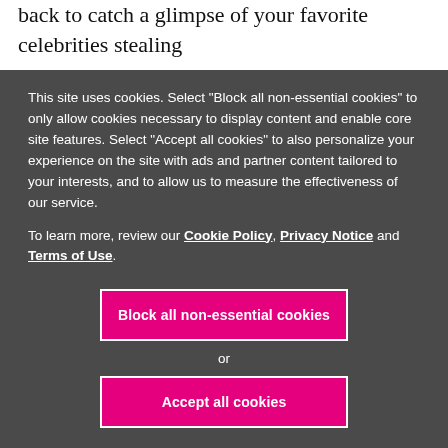back to catch a glimpse of your favorite celebrities stealing fashion spotlight.
This site uses cookies. Select "Block all non-essential cookies" to only allow cookies necessary to display content and enable core site features. Select "Accept all cookies" to also personalize your experience on the site with ads and partner content tailored to your interests, and to allow us to measure the effectiveness of our service.
To learn more, review our Cookie Policy, Privacy Notice and Terms of Use.
Block all non-essential cookies
or
Accept all cookies